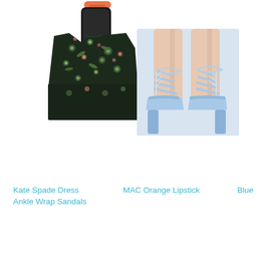[Figure (photo): Dark floral print dress (Kate Spade) with orange/coral handbag partially visible, fashion product photo on white background]
[Figure (photo): Light blue strappy lace-up ankle wrap heeled sandals on a person's legs, fashion product photo on light blue/grey background]
Kate Spade Dress
Ankle Wrap Sandals
MAC Orange Lipstick
Blue